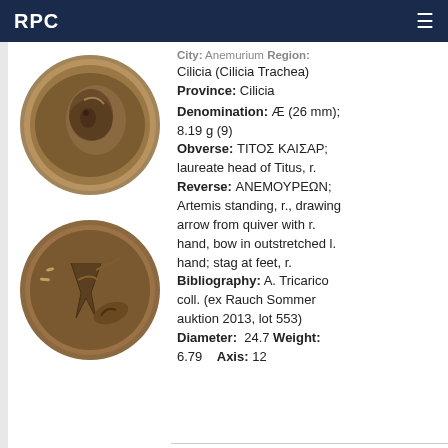RPC
[Figure (photo): Two ancient bronze coins (obverse and reverse) showing Titus on front and Artemis on back]
City: Anemurium Region: Cilicia (Cilicia Trachea)
Province: Cilicia
Denomination: Æ (26 mm); 8.19 g (9)
Obverse: ΤΙΤΟΣ ΚΑΙΣΑΡ; laureate head of Titus, r.
Reverse: ΑΝΕΜΟΥΡΕΩΝ; Artemis standing, r., drawing arrow from quiver with r. hand, bow in outstretched l. hand; stag at feet, r.
Bibliography: A. Tricarico coll. (ex Rauch Sommer auktion 2013, lot 553)
Diameter: 24.7 Weight: 6.79 Axis: 12